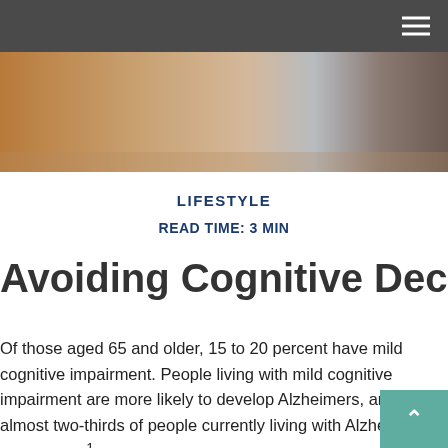Navigation header with hamburger menu
[Figure (photo): Partial photo of an elderly person's face/hands, warm tones at left fading to cooler tones at right]
LIFESTYLE
READ TIME: 3 MIN
Avoiding Cognitive Decline
Of those aged 65 and older, 15 to 20 percent have mild cognitive impairment. People living with mild cognitive impairment are more likely to develop Alzheimers, and almost two-thirds of people currently living with Alzheimers are women.1